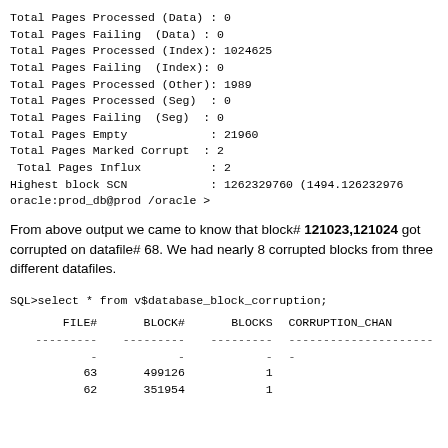Total Pages Processed (Data) : 0
Total Pages Failing  (Data) : 0
Total Pages Processed (Index): 1024625
Total Pages Failing  (Index): 0
Total Pages Processed (Other): 1989
Total Pages Processed (Seg)  : 0
Total Pages Failing  (Seg)  : 0
Total Pages Empty            : 21960
Total Pages Marked Corrupt  : 2
 Total Pages Influx          : 2
Highest block SCN            : 1262329760 (1494.126232976
oracle:prod_db@prod /oracle >
From above output we came to know that block# 121023,121024 got corrupted on datafile# 68. We had nearly 8 corrupted blocks from three different datafiles.
SQL>select * from v$database_block_corruption;
| FILE# | BLOCK# | BLOCKS | CORRUPTION_CHAN |
| --- | --- | --- | --- |
| 63 | 499126 | 1 |  |
| 62 | 351954 | 1 |  |